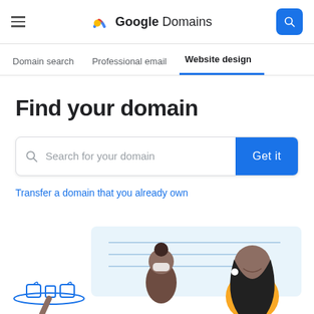Google Domains
Domain search | Professional email | Website design
Find your domain
Search for your domain
Get it
Transfer a domain that you already own
[Figure (illustration): Illustration showing a cafe scene with a person serving and another person using a laptop, representing website design for a small business.]